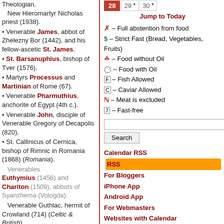Theologian. New Hieromartyr Nicholas priest (1938).
Venerable James, abbot of Zhelezny Bor (1442), and his fellow-ascetic St. James.
St. Barsanuphius, bishop of Tver (1576).
Martyrs Processus and Martinian of Rome (67).
Venerable Pharmuthius, anchorite of Egypt (4th c.).
Venerable John, disciple of Venerable Gregory of Decapolis (820).
St. Callinicus of Cernica, bishop of Rimnic in Romania (1868) (Romania).
Venerables Euthymius (1456) and Chariton (1509), abbots of Syanzhema (Vologda).
Venerable Guthlac, hermit of Crowland (714) (Celtic & British).
Hieromartyr Domninus, bishop of Salona in Dalmatia, and
| 28 | 29 | 30 |
| --- | --- | --- |
Jump to Today
✗ – Full abstention from food
$ – Strict Fast (Bread, Vegetables, Fruits)
– Food without Oil
– Food with Oil
F – Fish Allowed
C – Caviar Allowed
N – Meat is excluded
7 – Fast-free
Search
Calendar RSS
For Bloggers
iPhone App
Android App
For Webmasters
Websites with Calendar
About Calendar
New Calendar Version
Paschalion
Feb 17 – Sunday of the Publican and Pharisee
Mar 03 – Meatfare Sunday